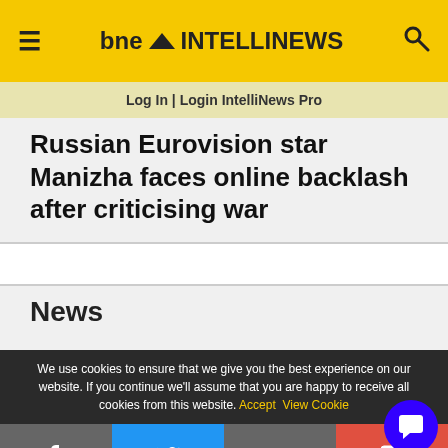bne INTELLINEWS
Log In | Login IntelliNews Pro
Russian Eurovision star Manizha faces online backlash after criticising war
News
We use cookies to ensure that we give you the best experience on our website. If you continue we'll assume that you are happy to receive all cookies from this website. Accept  View Cookie